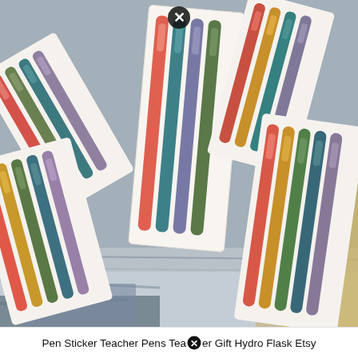[Figure (photo): Product photo of multiple pen sticker sheets arranged on a weathered wood surface. Sticker sheets contain colorful pen/marker illustrations in colors including teal, coral/orange, olive green, mauve/purple, gold/yellow, and red. Multiple sheets are scattered at various angles. A close button (X in circle) appears near the top center of the image.]
Pen Sticker Teacher Pens Teacher Gift Hydro Flask Etsy